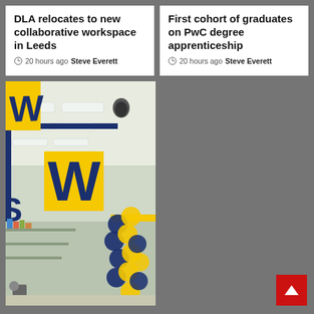DLA relocates to new collaborative workspace in Leeds
20 hours ago  Steve Everett
First cohort of graduates on PwC degree apprenticeship
20 hours ago  Steve Everett
[Figure (photo): Interior of The Works retail store showing yellow and navy blue W branding, yellow and blue balloon arch at entrance, ceiling with strip lighting, and shelves with merchandise visible in background.]